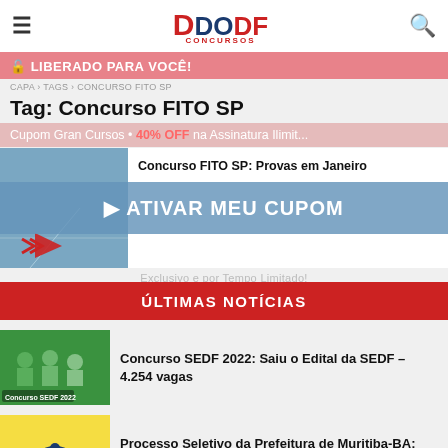DODF Concursos
🔓 LIBERADO PARA VOCÊ!
CAPA › TAGS › CONCURSO FITO SP
Tag: Concurso FITO SP
Cupom Gran Cursos • 40% OFF na Assinatura Ilimitada
[Figure (screenshot): Article thumbnail with play button for Concurso FITO SP]
Concurso FITO SP: Provas em Janeiro
▶ ATIVAR MEU CUPOM
Exclusivo e por Tempo Limitado!
ÚLTIMAS NOTÍCIAS
[Figure (photo): Green background image with Concurso SEDF 2022 label showing people in classroom]
Concurso SEDF 2022: Saiu o Edital da SEDF – 4.254 vagas
[Figure (logo): Prefeitura Municipal de Muritiba logo with yellow background]
Processo Seletivo da Prefeitura de Muritiba-BA: Inscrições encerradas